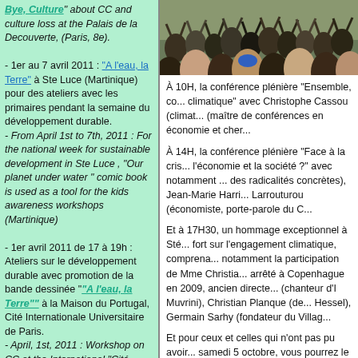Bye, Culture" about CC and culture loss at the Palais de la Decouverte, (Paris, 8e).
- 1er au 7 avril 2011 : "A l'eau, la Terre" à Ste Luce (Martinique) pour des ateliers avec les primaires pendant la semaine du développement durable.
- From April 1st to 7th, 2011 : For the national week for sustainable development in Ste Luce , "Our planet under water" comic book is used as a tool for the kids awareness workshops (Martinique)
- 1er avril 2011 de 17 à 19h : Ateliers sur le développement durable avec promotion de la bande dessinée ""A l'eau, la Terre"" à la Maison du Portugal, Cité Internationale Universitaire de Paris.
- April, 1st, 2011 : Workshop on CC at the International "Cité Universitaire"'s House of Portugal with "Our planet under Water" portugese version (Paris, 14e).
- 26 mars 2011 à 15h : Table-ronde sur les migrations à l'auditorium du Palais de la Porte dorée à Paris, siège de la Cité nationale de l'histoire de l'immigration.
[Figure (photo): Crowd of people at an outdoor event, many with arms raised, photographed from below or same level]
À 10H, la conférence plénière "Ensemble, co... climatique" avec Christophe Cassou (climat... (maître de conférences en économie et cher...
À 14H, la conférence plénière "Face à la cris... l'économie et la société ?" avec notamment ... des radicalités concrètes), Jean-Marie Harri... Larrouturou (économiste, porte-parole du C...
Et à 17H30, un hommage exceptionnel à Sté... fort sur l'engagement climatique, comprena... notamment la participation de Mme Christia... arrêté à Copenhague en 2009, ancien directe... (chanteur d'I Muvrini), Christian Planque (de... Hessel), Germain Sarhy (fondateur du Villag...
Et pour ceux et celles qui n'ont pas pu avoir... samedi 5 octobre, vous pourrez le suivre en...
Merci de faire circuler ce message pour que... cet événement, et ainsi participer à en faire ... pour le climat!
Si les alternatives existent, qu'attend-on pou...
L'équipe d'Alternatiba